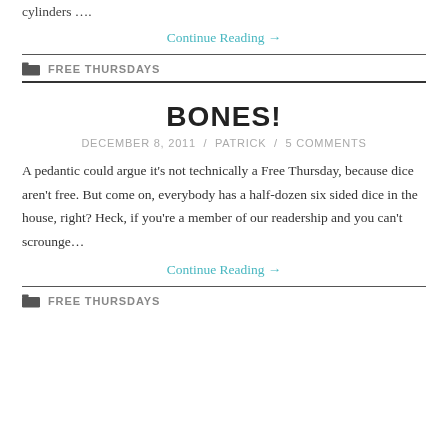cylinders ….
Continue Reading →
FREE THURSDAYS
BONES!
DECEMBER 8, 2011 / PATRICK / 5 COMMENTS
A pedantic could argue it's not technically a Free Thursday, because dice aren't free. But come on, everybody has a half-dozen six sided dice in the house, right? Heck, if you're a member of our readership and you can't scrounge…
Continue Reading →
FREE THURSDAYS